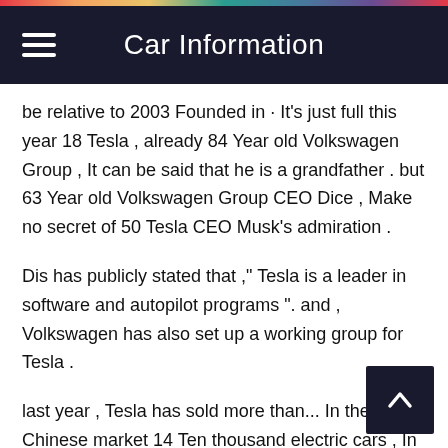Car Information
be relative to 2003 Founded in · It's just full this year 18 Tesla , already 84 Year old Volkswagen Group , It can be said that he is a grandfather . but 63 Year old Volkswagen Group CEO Dice , Make no secret of 50 Tesla CEO Musk's admiration .
Dis has publicly stated that ," Tesla is a leader in software and autopilot programs ". and , Volkswagen has also set up a working group for Tesla .
last year , Tesla has sold more than... In the Chinese market 14 Ten thousand electric cars , In the first half of this year, the sales volume has exceeded 16 Thousand of cars .